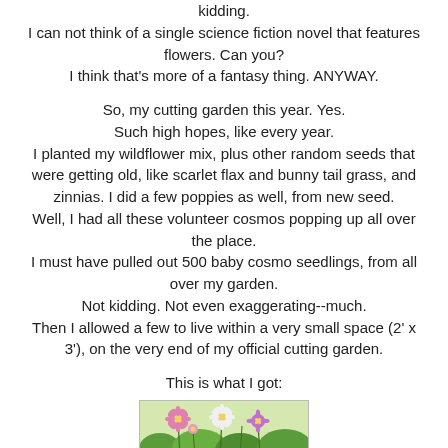kidding.
I can not think of a single science fiction novel that features flowers. Can you?
I think that's more of a fantasy thing. ANYWAY.
So, my cutting garden this year. Yes.
Such high hopes, like every year.
I planted my wildflower mix, plus other random seeds that were getting old, like scarlet flax and bunny tail grass, and zinnias. I did a few poppies as well, from new seed.
Well, I had all these volunteer cosmos popping up all over the place.
I must have pulled out 500 baby cosmo seedlings, from all over my garden.
Not kidding. Not even exaggerating--much.
Then I allowed a few to live within a very small space (2' x 3'), on the very end of my official cutting garden.
This is what I got:
[Figure (photo): Photo of a cutting garden with cosmos and other wildflowers in pink, white, and purple colors growing together]